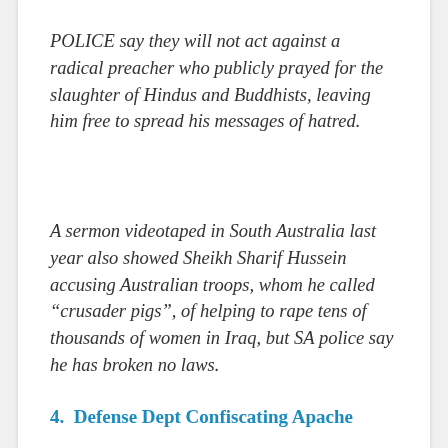POLICE say they will not act against a radical preacher who publicly prayed for the slaughter of Hindus and Buddhists, leaving him free to spread his messages of hatred.
A sermon videotaped in South Australia last year also showed Sheikh Sharif Hussein accusing Australian troops, whom he called “crusader pigs”, of helping to rape tens of thousands of women in Iraq, but SA police say he has broken no laws.
4. Defense Dept Confiscating Apache